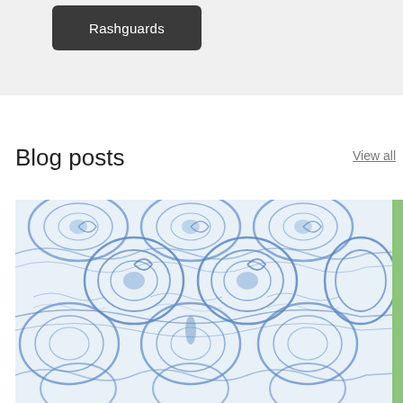[Figure (screenshot): Dark rounded button with white text 'Rashguards' on a light gray background section]
Blog posts
View all
[Figure (photo): Blue and white watercolor wave/scroll decorative pattern image used as a blog post thumbnail]